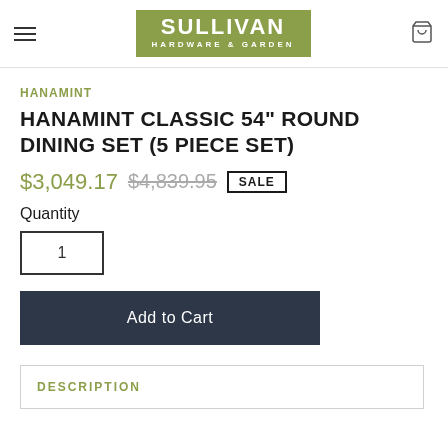Sullivan Hardware & Garden
HANAMINT
HANAMINT CLASSIC 54" ROUND DINING SET (5 PIECE SET)
$3,049.17  $4,839.95  SALE
Quantity
1
Add to Cart
DESCRIPTION